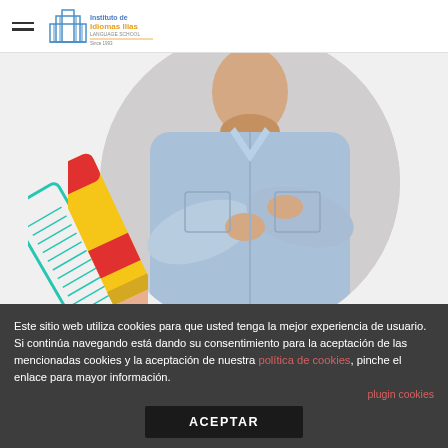[Figure (logo): Instituto de Idiomas Ilias logo with building icon and colored text]
[Figure (photo): A young man with arms crossed wearing a denim shirt, set against a gray circle background, with illustrated pencil/eraser decorative elements overlaid on the left side]
Este sitio web utiliza cookies para que usted tenga la mejor experiencia de usuario. Si continúa navegando está dando su consentimiento para la aceptación de las mencionadas cookies y la aceptación de nuestra política de cookies, pinche el enlace para mayor información.
plugin cookies
ACEPTAR